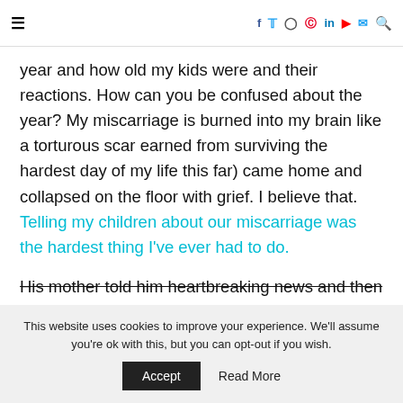≡  f  t  instagram  pinterest  in  youtube  email  search
year and how old my kids were and their reactions. How can you be confused about the year? My miscarriage is burned into my brain like a torturous scar earned from surviving the hardest day of my life this far) came home and collapsed on the floor with grief. I believe that. Telling my children about our miscarriage was the hardest thing I've ever had to do.
His mother told him heartbreaking news and then
This website uses cookies to improve your experience. We'll assume you're ok with this, but you can opt-out if you wish.